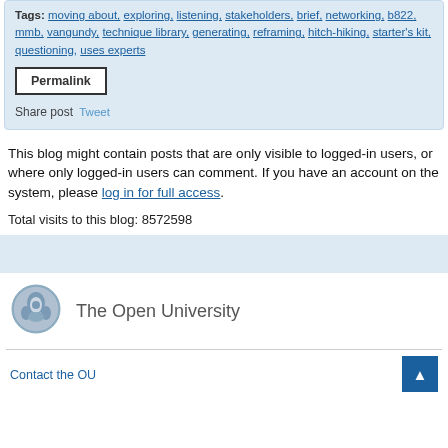Tags: moving about, exploring, listening, stakeholders, brief, networking, b822, mmb, vangundy, technique library, generating, reframing, hitch-hiking, starter's kit, questioning, uses experts
Permalink
Share post  Tweet
This blog might contain posts that are only visible to logged-in users, or where only logged-in users can comment. If you have an account on the system, please log in for full access.
Total visits to this blog: 8572598
[Figure (logo): The Open University crest logo]
The Open University
Contact the OU